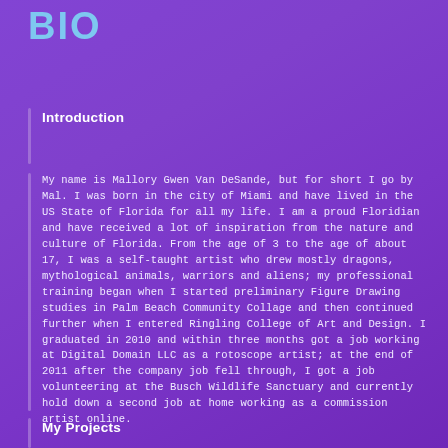Bio
Introduction
My name is Mallory Gwen Van DeSande, but for short I go by Mal. I was born in the city of Miami and have lived in the US State of Florida for all my life. I am a proud Floridian and have received a lot of inspiration from the nature and culture of Florida. From the age of 3 to the age of about 17, I was a self-taught artist who drew mostly dragons, mythological animals, warriors and aliens; my professional training began when I started preliminary Figure Drawing studies in Palm Beach Community Collage and then continued further when I entered Ringling College of Art and Design. I graduated in 2010 and within three months got a job working at Digital Domain LLC as a rotoscope artist; at the end of 2011 after the company job fell through, I got a job volunteering at the Busch Wildlife Sanctuary and currently hold down a second job at home working as a commission artist online.
My Projects